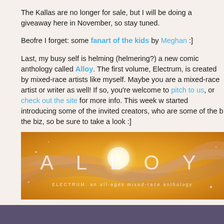The Kallas are no longer for sale, but I will be doing a giveaway here in November, so stay tuned.
Beofre I forget: some fanart of the kids by Meghan :]
Last, my busy self is helming (helmering?) a new comic anthology called Alloy. The first volume, Electrum, is created by mixed-race artists like myself. Maybe you are a mixed-race artist or writer as well! If so, you're welcome to pitch to us, or check out the site for more info. This week we started introducing some of the invited creators, who are some of the best in the biz, so be sure to take a look :]
[Figure (illustration): Banner image for ALLOY: ELECTRUM - an all-ages mixed-race anthology. Orange/golden background with swirling ribbon shapes and a glowing white orb. Large letters spell out A L L O Y with the subtitle ELECTRUM: an all-ages mixed-race anthology below.]
Sorry, big update, been very busy. That's enough news for now… next update on: Weds! See you then~